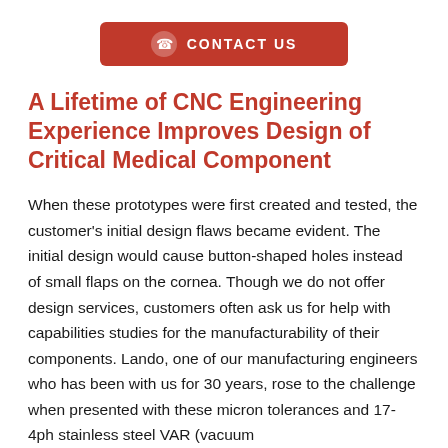[Figure (other): Red 'CONTACT US' button with phone icon]
A Lifetime of CNC Engineering Experience Improves Design of Critical Medical Component
When these prototypes were first created and tested, the customer's initial design flaws became evident. The initial design would cause button-shaped holes instead of small flaps on the cornea. Though we do not offer design services, customers often ask us for help with capabilities studies for the manufacturability of their components. Lando, one of our manufacturing engineers who has been with us for 30 years, rose to the challenge when presented with these micron tolerances and 17-4ph stainless steel VAR (vacuum